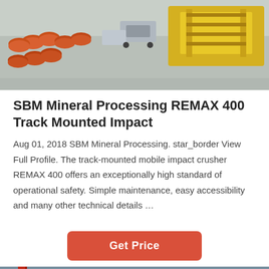[Figure (photo): Aerial/overhead view of industrial machinery, equipment parts and a yellow crane or machine on a concrete floor]
SBM Mineral Processing REMAX 400 Track Mounted Impact
Aug 01, 2018 SBM Mineral Processing. star_border View Full Profile. The track-mounted mobile impact crusher REMAX 400 offers an exceptionally high standard of operational safety. Simple maintenance, easy accessibility and many other technical details …
[Figure (other): Get Price button - red/orange rounded rectangle button]
[Figure (photo): Interior of an industrial warehouse or factory with red structural beams and steel roof, and a customer service representative avatar at the bottom with Leave Message and Chat Online options]